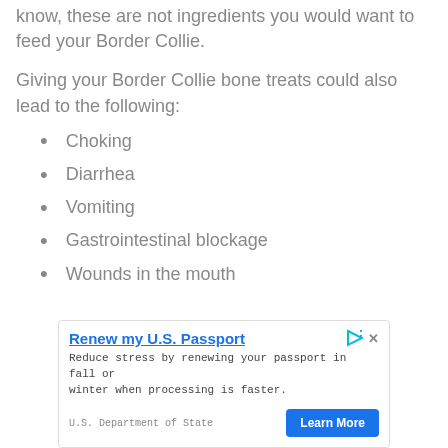know, these are not ingredients you would want to feed your Border Collie.
Giving your Border Collie bone treats could also lead to the following:
Choking
Diarrhea
Vomiting
Gastrointestinal blockage
Wounds in the mouth
[Figure (screenshot): Advertisement: 'Renew my U.S. Passport' - U.S. Department of State ad with Learn More button]